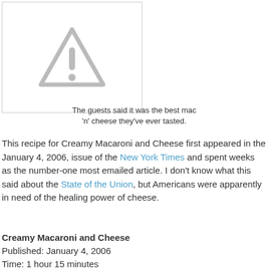[Figure (other): Image placeholder with grey warning triangle icon (exclamation mark)]
The guests said it was the best mac 'n' cheese they've ever tasted.
This recipe for Creamy Macaroni and Cheese first appeared in the January 4, 2006, issue of the New York Times and spent weeks as the number-one most emailed article. I don't know what this said about the State of the Union, but Americans were apparently in need of the healing power of cheese.
Creamy Macaroni and Cheese
Published: January 4, 2006
Time: 1 hour 15 minutes